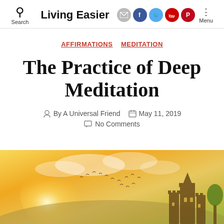Living Easier — Search | Social icons | Menu
AFFIRMATIONS  MEDITATION
The Practice of Deep Meditation
By A Universal Friend   May 11, 2019   No Comments
[Figure (photo): Scenic golden-lit landscape with birds flying, clouds, and a castle silhouette on the right, with warm yellow-green gradient sky]